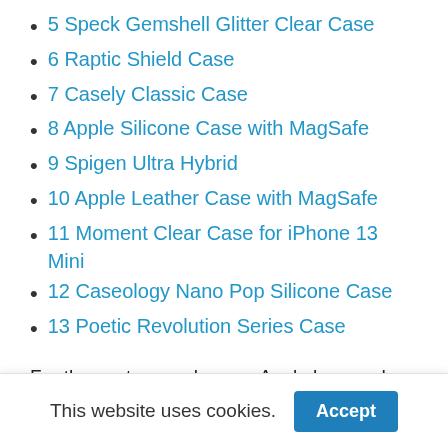5 Speck Gemshell Glitter Clear Case
6 Raptic Shield Case
7 Casely Classic Case
8 Apple Silicone Case with MagSafe
9 Spigen Ultra Hybrid
10 Apple Leather Case with MagSafe
11 Moment Clear Case for iPhone 13 Mini
12 Caseology Nano Pop Silicone Case
13 Poetic Revolution Series Case
For the past several years, Apple has made an effort to cater to customers who seek a small, pocketable smartphone that doesn't stick out — or fall out — of their pockets. With the iPhone 13 Series, Apple has once again stuck to that formula. The new iPhone 13 Mini, the second in the Mini series, may very well be the last, sadly, as Mini
This website uses cookies.